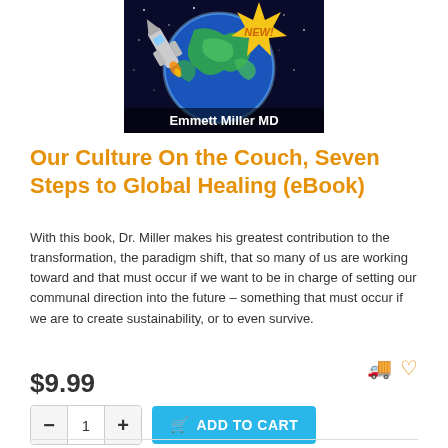[Figure (illustration): Book cover for 'Our Culture On the Couch, Seven Steps to Global Healing' by Emmett Miller MD, showing a rocket, Earth from space, a yellow 'NEW!' starburst badge, and the author name at the bottom.]
Our Culture On the Couch, Seven Steps to Global Healing (eBook)
With this book, Dr. Miller makes his greatest contribution to the transformation, the paradigm shift, that so many of us are working toward and that must occur if we want to be in charge of setting our communal direction into the future – something that must occur if we are to create sustainability, or to even survive.
$9.99